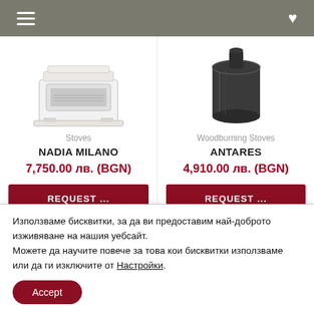Navigation header with hamburger menu and heart/wishlist icon
[Figure (photo): White ceramic/porcelain stove fireplace unit (Nadia Milano product image)]
Stoves
NADIA MILANO
7,750.00 лв. (BGN)
REQUEST ...
[Figure (photo): Dark/black cylindrical woodburning stove (Antares product image)]
Woodburning Stoves
ANTARES
4,910.00 лв. (BGN)
REQUEST ...
Използваме бисквитки, за да ви предоставим най-доброто изживяване на нашия уебсайт.
Можете да научите повече за това кои бисквитки използваме или да ги изключите от Настройки.
Accept